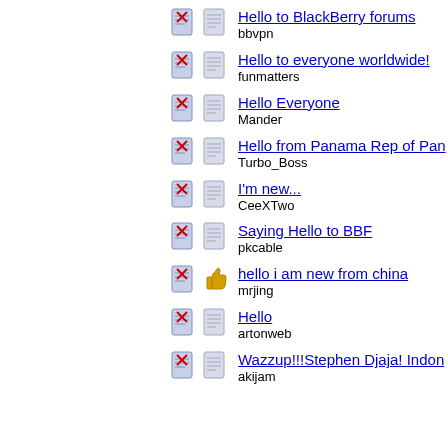Hello to BlackBerry forums
bbvpn
Hello to everyone worldwide!
funmatters
Hello Everyone
Mander
Hello from Panama Rep of Pan
Turbo_Boss
I'm new...
CeeXTwo
Saying Hello to BBF
pkcable
hello i am new from china
mrjing
Hello
artonweb
Wazzup!!!Stephen Djaja! Indon
akijam